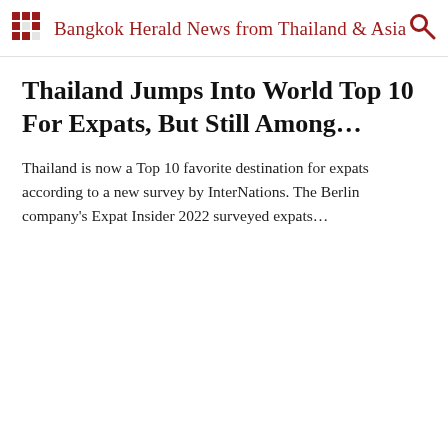Bangkok Herald News from Thailand & Asia
Thailand Jumps Into World Top 10 For Expats, But Still Among...
Thailand is now a Top 10 favorite destination for expats according to a new survey by InterNations. The Berlin company's Expat Insider 2022 surveyed expats...